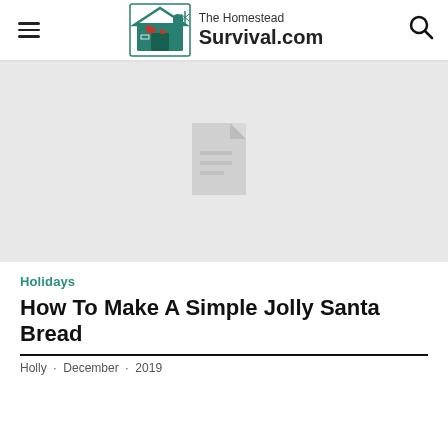The Homestead Survival.com
[Figure (photo): Hero image placeholder with document/file icon on light gray background]
Holidays
How To Make A Simple Jolly Santa Bread
Holly · December · 2019